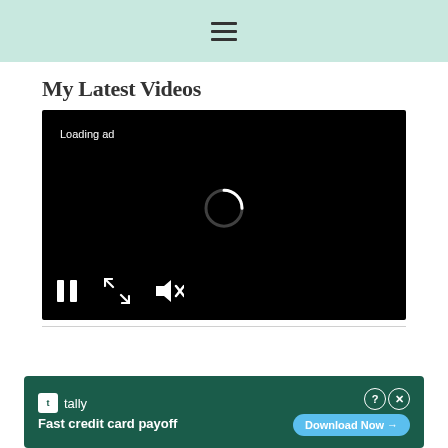≡
My Latest Videos
[Figure (screenshot): A black video player showing 'Loading ad' text, a circular loading spinner in the center, and playback controls at the bottom (pause, expand, and mute buttons).]
[Figure (screenshot): Advertisement banner for Tally app with dark green background, showing 'Fast credit card payoff' tagline, Download Now button, and close/help icons.]